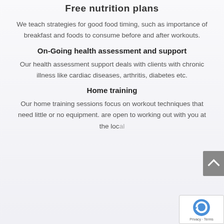Free nutrition plans
We teach strategies for good food timing, such as importance of breakfast and foods to consume before and after workouts.
On-Going health assessment and support
Our health assessment support deals with clients with chronic illness like cardiac diseases, arthritis, diabetes etc.
Home training
Our home training sessions focus on workout techniques that need little or no equipment. are open to working out with you at the local